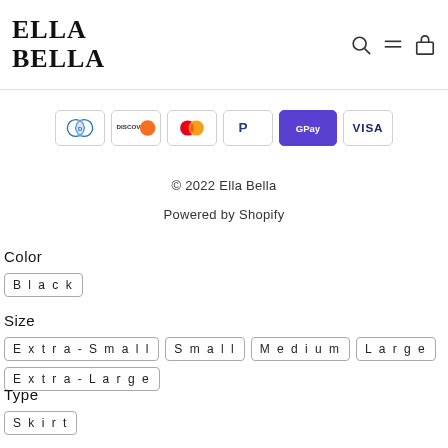ELLA BELLA
[Figure (infographic): Payment method icons: Diners Club, Discover, Mastercard, PayPal, G Pay, Visa]
© 2022 Ella Bella
Powered by Shopify
Color
Black
Size
Extra-Small  Small  Medium  Large  Extra-Large
Type
Skirt